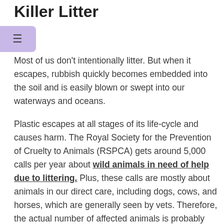Killer Litter
Most of us don't intentionally litter. But when it escapes, rubbish quickly becomes embedded into the soil and is easily blown or swept into our waterways and oceans.
Plastic escapes at all stages of its life-cycle and causes harm. The Royal Society for the Prevention of Cruelty to Animals (RSPCA) gets around 5,000 calls per year about wild animals in need of help due to littering. Plus, these calls are mostly about animals in our direct care, including dogs, cows, and horses, which are generally seen by vets. Therefore, the actual number of affected animals is probably much higher.
You may wonder how litter can pose such a threat to wildlife. In most situations, animals mistake pieces of plastic for food, due to the material's smell and colour. Sometimes this consumption is accidental; animals are likely to eat plastic if